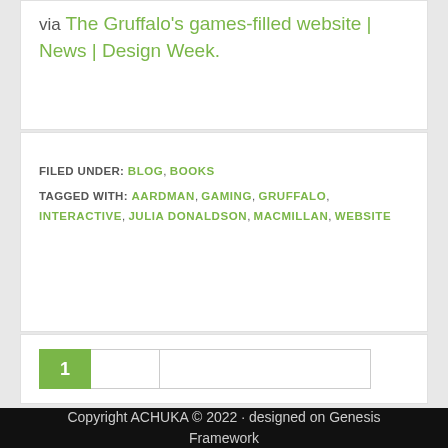via The Gruffalo's games-filled website | News | Design Week.
FILED UNDER: BLOG, BOOKS
TAGGED WITH: AARDMAN, GAMING, GRUFFALO, INTERACTIVE, JULIA DONALDSON, MACMILLAN, WEBSITE
[Figure (other): Pagination bar with page number 1 highlighted in green, followed by empty input boxes]
Copyright ACHUKA © 2022 · designed on Genesis Framework